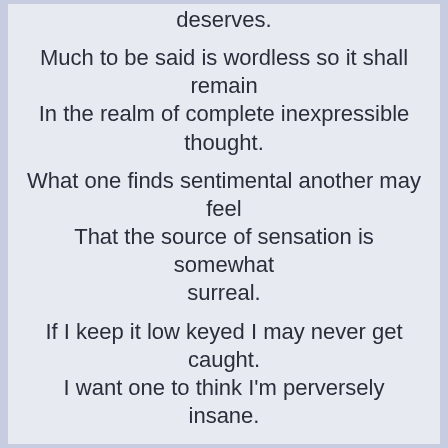deserves.

Much to be said is wordless so it shall remain
In the realm of complete inexpressible thought.
What one finds sentimental another may feel
That the source of sensation is somewhat surreal.
If I keep it low keyed I may never get caught.
I want one to think I'm perversely insane.
This entry was posted on August 22, 2020, in Offbeat and tagged alternate reality, blogging, commentary, creative writing, deep thought, duality, flight of thought, food for thought, gratitude, humorous, Love, magic realism, magic realist, mind travel, new age, new age thought, new thought, offbeat, philosophical, philosophical commentary, philosophical questions, philosophy, schools of thought, social commentary, spiritual, spiritual commentary, spirituality, thanks, thought, writing.
Leave a comment